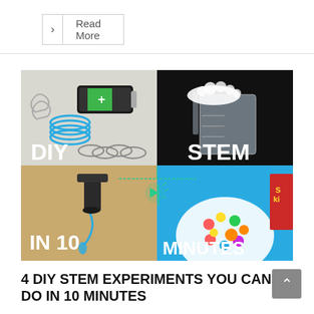> Read More
[Figure (illustration): 2x2 image grid showing: top-left: battery with coil wire and paper clips (DIY electromagnet), top-right: measuring cup with foam/bubbles (STEM), bottom-left: dripping faucet (IN 10), bottom-right: colorful candy on plate (MINUTES). Text overlays: DIY, STEM, IN 10, MINUTES. A green LED diagram is overlaid in the center.]
4 DIY STEM EXPERIMENTS YOU CAN DO IN 10 MINUTES